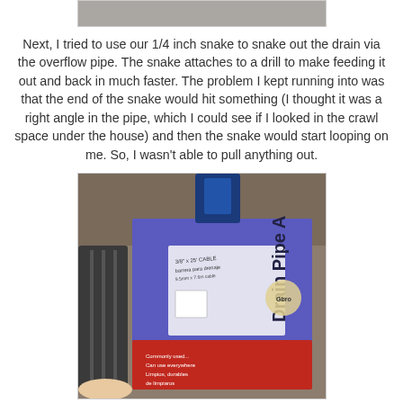[Figure (photo): Partial top photo visible at top of page, cropped]
Next, I tried to use our 1/4 inch snake to snake out the drain via the overflow pipe. The snake attaches to a drill to make feeding it out and back in much faster. The problem I kept running into was that the end of the snake would hit something (I thought it was a right angle in the pipe, which I could see if I looked in the crawl space under the house) and then the snake would start looping on me. So, I wasn't able to pull anything out.
[Figure (photo): Photo of a 'Drain Pipe Auger' product box (Gboro brand), showing a purple and red box with label text: Drain Pipe Auger, 3/8" x 25' CABLE, barrera para drenaje, 9.5mm x 7.6m cable. A drain snake cable is visible next to the box.]